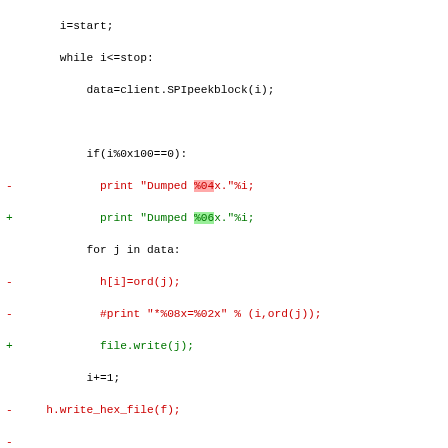[Figure (screenshot): A code diff (patch/diff view) showing Python script changes with removed lines in red and added lines in green, including diff hunk headers in purple. The diff shows changes to SPI flash reading functions.]